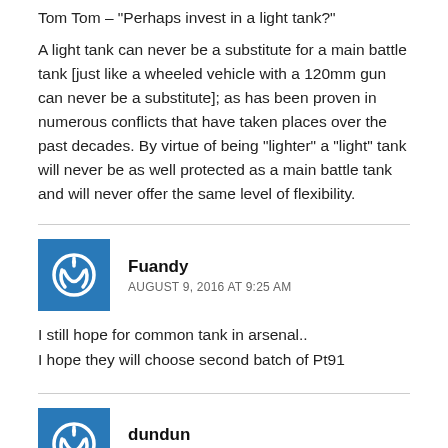Tom Tom – 'Perhaps invest in a light tank?'
A light tank can never be a substitute for a main battle tank [just like a wheeled vehicle with a 120mm gun can never be a substitute]; as has been proven in numerous conflicts that have taken places over the past decades. By virtue of being "lighter" a "light" tank will never be as well protected as a main battle tank and will never offer the same level of flexibility.
Fuandy
AUGUST 9, 2016 AT 9:25 AM
I still hope for common tank in arsenal..
I hope they will choose second batch of Pt91
dundun
AUGUST 9, 2016 AT 11:48 AM